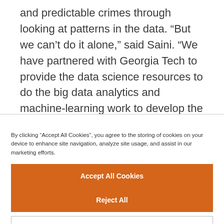and predictable crimes through looking at patterns in the data. “But we can’t do it alone,” said Saini. “We have partnered with Georgia Tech to provide the data science resources to do the big data analytics and machine-learning work to develop the algorithms.”
By clicking “Accept All Cookies”, you agree to the storing of cookies on your device to enhance site navigation, analyze site usage, and assist in our marketing efforts.
Accept All Cookies
Reject All
Cookies Settings